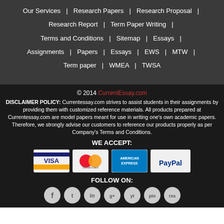Our Services | Research Papers | Research Proposal | Research Report | Term Paper Writing | Terms and Conditions | Sitemap | Essays | Assignments | Papers | Essays | EWS | MTW | Term paper | WMEA | TWSA
© 2014 CurrentEssay.com
DISCLAIMER POLICY: Currentessay.com strives to assist students in their assignments by providing them with customized reference materials. All products prepared at Currentessay.com are model papers meant for use in writing one's own academic papers. Therefore, we strongly advise our customers to reference our products properly as per Company's Terms and Conditions.
WE ACCEPT:
[Figure (other): Payment method icons: Visa, MasterCard, American Express, PayPal]
FOLLOW ON:
[Figure (other): Seven social media icon circles in a row]